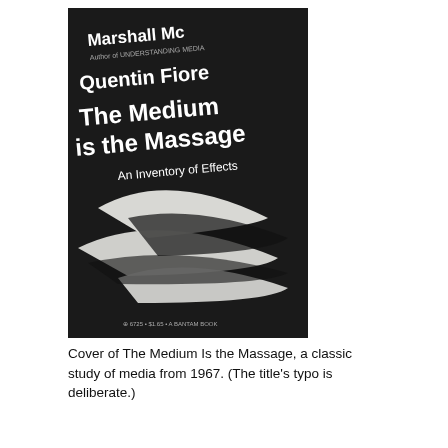[Figure (photo): Cover of the book 'The Medium is the Massage: An Inventory of Effects' by Marshall McLuhan and Quentin Fiore. Black cover with white text and abstract black and white swooping graphic design elements.]
Cover of The Medium Is the Massage, a classic study of media from 1967. (The title's typo is deliberate.)
Written Content
Historically speaking, writing sits on top of the list of most commonly created content on the internet. Engaging and